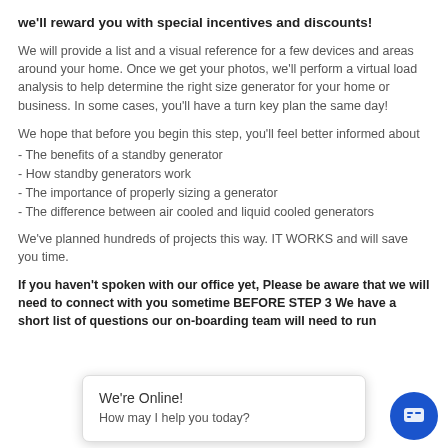we'll reward you with special incentives and discounts!
We will provide a list and a visual reference for a few devices and areas around your home. Once we get your photos, we'll perform a virtual load analysis to help determine the right size generator for your home or business. In some cases, you'll have a turn key plan the same day!
We hope that before you begin this step, you'll feel better informed about
- The benefits of a standby generator
- How standby generators work
- The importance of properly sizing a generator
- The difference between air cooled and liquid cooled generators
We've planned hundreds of projects this way. IT WORKS and will save you time.
If you haven't spoken with our office yet, Please be aware that we will need to connect with you sometime BEFORE STEP 3 We have a short list of questions our on-boarding team will need to run
We're Online!
How may I help you today?